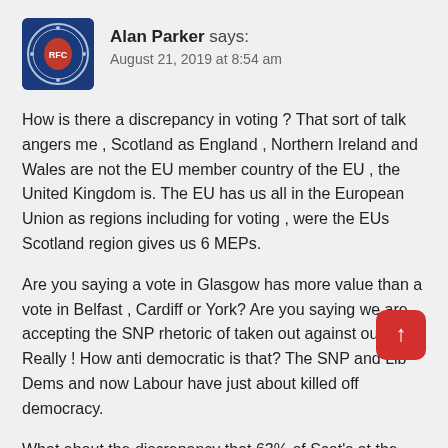Alan Parker says: August 21, 2019 at 8:54 am
How is there a discrepancy in voting ? That sort of talk angers me , Scotland as England , Northern Ireland and Wales are not the EU member country of the EU , the United Kingdom is. The EU has us all in the European Union as regions including for voting , were the EUs Scotland region gives us 6 MEPs.
Are you saying a vote in Glasgow has more value than a vote in Belfast , Cardiff or York? Are you saying we are accepting the SNP rhetoric of taken out against our will ? Really ! How anti democratic is that? The SNP and Lib Dems and now Labour have just about killed off democracy.
What about the discrepancy that 63% of Scot's at the